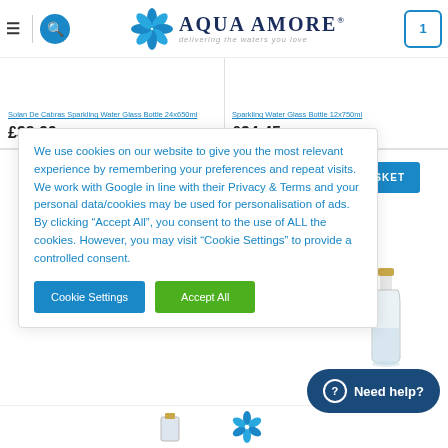Aqua Amore — delivering the waters you love
Solan de Cabras Sparkling Water Glass Bottle 24x650ml
£38.99 Inc VAT (£32.49 Ex. VAT)
Sparkling Water Glass Bottle 12x750ml
£34.45 Inc VAT (£28.71 Ex. VAT)
We use cookies on our website to give you the most relevant experience by remembering your preferences and repeat visits. We work with Google in line with their Privacy & Terms and your personal data/cookies may be used for personalisation of ads. By clicking "Accept All", you consent to the use of ALL the cookies. However, you may visit "Cookie Settings" to provide a controlled consent.
Cookie Settings
Accept All
TO BASKET
OF STOCK
Need help?